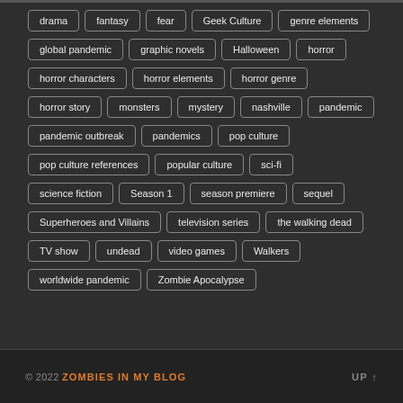drama
fantasy
fear
Geek Culture
genre elements
global pandemic
graphic novels
Halloween
horror
horror characters
horror elements
horror genre
horror story
monsters
mystery
nashville
pandemic
pandemic outbreak
pandemics
pop culture
pop culture references
popular culture
sci-fi
science fiction
Season 1
season premiere
sequel
Superheroes and Villains
television series
the walking dead
TV show
undead
video games
Walkers
worldwide pandemic
Zombie Apocalypse
© 2022 ZOMBIES IN MY BLOG   UP ↑